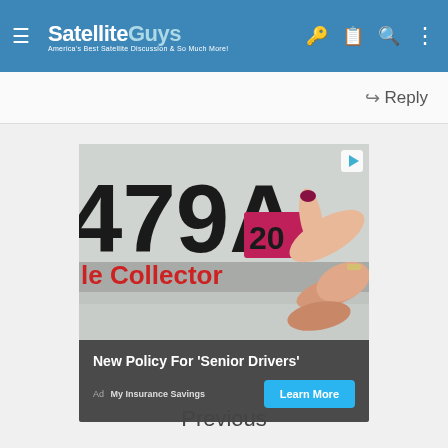SatelliteGuys — America's Best Satellite Discussion & So Much More!
Reply
[Figure (photo): Advertisement showing a hand pointing to a vehicle registration sticker on a license plate (partially visible text: 479A, le Collector, 20). Ad for 'New Policy For Senior Drivers' by My Insurance Savings with a Learn More button.]
New Policy For 'Senior Drivers' — Ad My Insurance Savings — Learn More
Previous